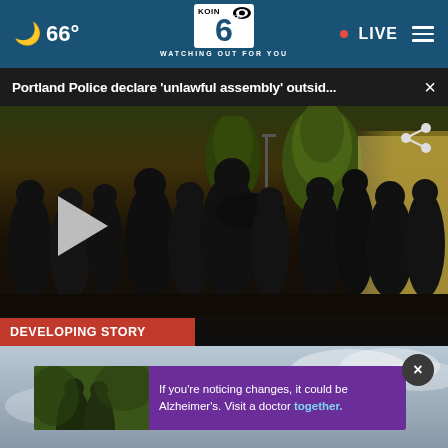66° KOIN 6 CBS WATCHING OUT FOR YOU • LIVE
Portland Police declare 'unlawful assembly' outsid... ×
[Figure (screenshot): Night video still showing a crowd of protesters gathered on a street. People wearing dark clothing and masks are visible. Trees and street lights in background. Play button overlay on left side. Share icon in top right. Red 'DEVELOPING STORY' banner at bottom.]
[Figure (photo): Advertisement showing two men standing together outdoors with text: 'If you're noticing changes, it could be Alzheimer's. Visit a doctor together.' on a purple background. Close button (X) at top right.]